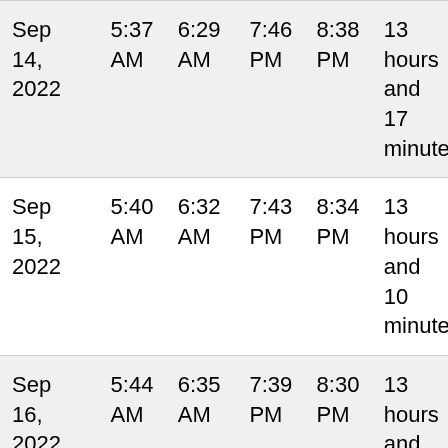| Sep 14, 2022 | 5:37 AM | 6:29 AM | 7:46 PM | 8:38 PM | 13 hours and 17 minutes |
| Sep 15, 2022 | 5:40 AM | 6:32 AM | 7:43 PM | 8:34 PM | 13 hours and 10 minutes |
| Sep 16, 2022 | 5:44 AM | 6:35 AM | 7:39 PM | 8:30 PM | 13 hours and 3 minutes |
| Sep 17, 2022 | 5:47 AM | 6:38 AM | 7:35 PM | 8:26 PM | 12 hours and 57 minutes |
| Sep 18, ... | 5:50 AM | 6:41 AM | 7:31 PM | 8:22 PM | 12 hours and 50... |